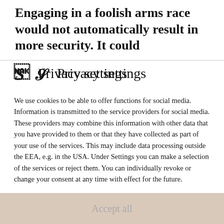Engaging in a foolish arms race would not automatically result in more security. It could
Privacy settings
We use cookies to be able to offer functions for social media. Information is transmitted to the service providers for social media. These providers may combine this information with other data that you have provided to them or that they have collected as part of your use of the services. This may include data processing outside the EEA, e.g. in the USA. Under Settings you can make a selection of the services or reject them. You can individually revoke or change your consent at any time with effect for the future.
If you are under 16 and wish to give consent to optional services, you must ask your legal guardians for permission.
We use cookies and other technologies on our website. Some of them
Essential
External Media
Accept all